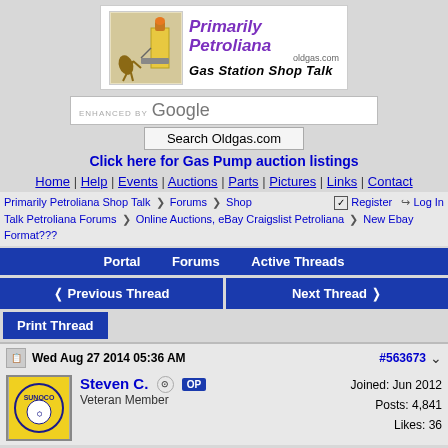[Figure (logo): Primarily Petroliana oldgas.com Gas Station Shop Talk logo with vintage gas station attendant illustration]
ENHANCED BY Google
Search Oldgas.com
Click here for Gas Pump auction listings
Home | Help | Events | Auctions | Parts | Pictures | Links | Contact
Primarily Petroliana Shop Talk > Forums > Shop Talk Petroliana Forums > Online Auctions, eBay Craigslist Petroliana > New Ebay Format??? Register Log In
Portal  Forums  Active Threads
< Previous Thread  Next Thread >
Print Thread
Wed Aug 27 2014 05:36 AM  #563673
Steven C.  OP  Veteran Member  Joined: Jun 2012  Posts: 4,841  Likes: 36